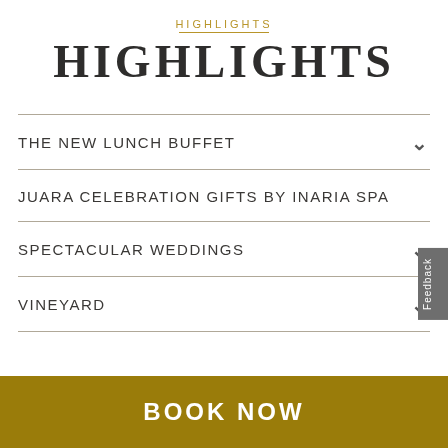HIGHLIGHTS
HIGHLIGHTS
THE NEW LUNCH BUFFET
JUARA CELEBRATION GIFTS BY INARIA SPA
SPECTACULAR WEDDINGS
VINEYARD
BOOK NOW